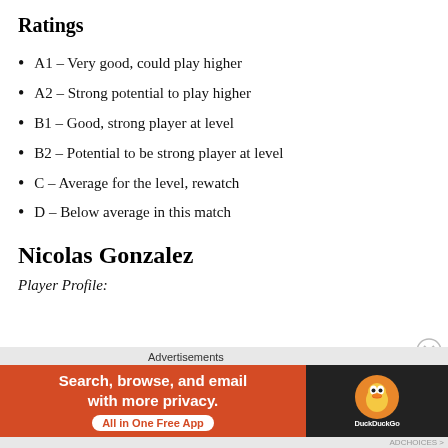Ratings
A1 – Very good, could play higher
A2 – Strong potential to play higher
B1 – Good, strong player at level
B2 – Potential to be strong player at level
C – Average for the level, rewatch
D – Below average in this match
Nicolas Gonzalez
Player Profile:
Advertisements
[Figure (other): DuckDuckGo advertisement banner: 'Search, browse, and email with more privacy. All in One Free App' on orange background with DuckDuckGo logo on dark background.]